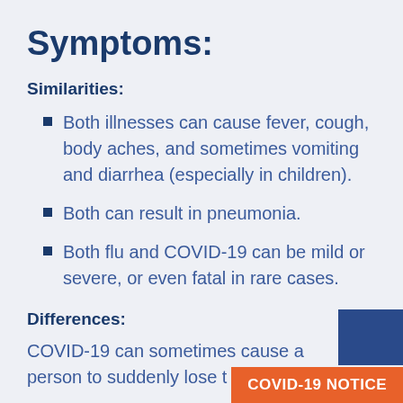Symptoms:
Similarities:
Both illnesses can cause fever, cough, body aches, and sometimes vomiting and diarrhea (especially in children).
Both can result in pneumonia.
Both flu and COVID-19 can be mild or severe, or even fatal in rare cases.
Differences:
COVID-19 can sometimes cause a person to suddenly lose...